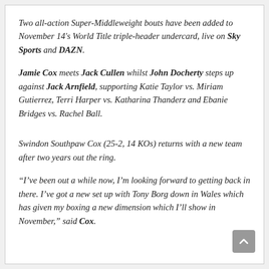Two all-action Super-Middleweight bouts have been added to November 14's World Title triple-header undercard, live on Sky Sports and DAZN.
Jamie Cox meets Jack Cullen whilst John Docherty steps up against Jack Arnfield, supporting Katie Taylor vs. Miriam Gutierrez, Terri Harper vs. Katharina Thanderz and Ebanie Bridges vs. Rachel Ball.
Swindon Southpaw Cox (25-2, 14 KOs) returns with a new team after two years out the ring.
“I’ve been out a while now, I’m looking forward to getting back in there. I’ve got a new set up with Tony Borg down in Wales which has given my boxing a new dimension which I’ll show in November,” said Cox.